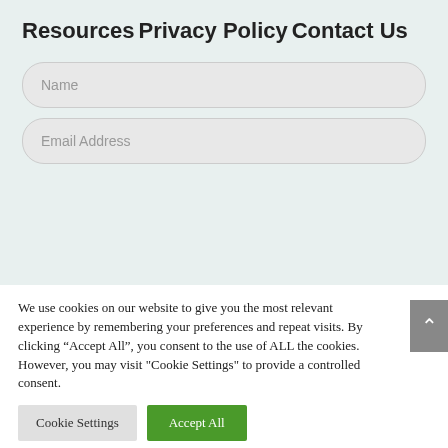Resources
Privacy Policy
Contact Us
Name
Email Address
We use cookies on our website to give you the most relevant experience by remembering your preferences and repeat visits. By clicking “Accept All”, you consent to the use of ALL the cookies. However, you may visit "Cookie Settings" to provide a controlled consent.
Cookie Settings
Accept All